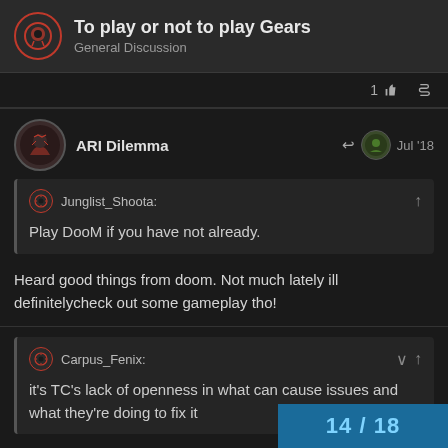To play or not to play Gears — General Discussion
1 [like] [link]
ARI Dilemma — Jul '18
Junglist_Shoota: Play DooM if you have not already.
Heard good things from doom. Not much lately ill definitelycheck out some gameplay tho!
Carpus_Fenix: it's TC's lack of openness in what can cause issues and what they're doing to fix it
I know man they say theyre always working it but it never changes or its something can
14 / 18